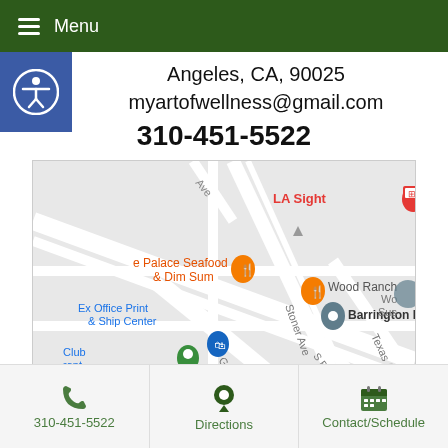Menu
Angeles, CA, 90025
myartofwellness@gmail.com
310-451-5522
[Figure (map): Google Maps screenshot showing area around Barrington Plaza in Los Angeles with pins for LA Sight, Palace Seafood & Dim Sum, Wood Ranch, Ex Office Print & Ship Center, and Barrington Plaza]
310-451-5522   Directions   Contact/Schedule